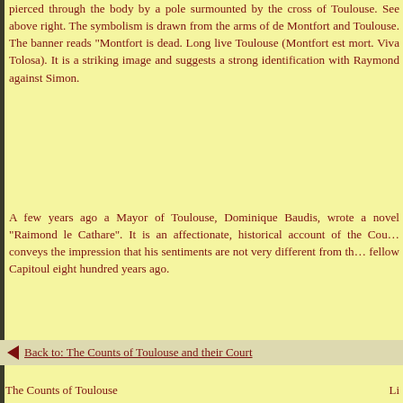pierced through the body by a pole surmounted by the cross of Toulouse. See above right. The symbolism is drawn from the arms of de Montfort and Toulouse. The banner reads "Montfort is dead. Long live Toulouse (Montfort est mort. Viva Tolosa). It is a striking image and suggests a strong identification with Raymond against Simon.
A few years ago a Mayor of Toulouse, Dominique Baudis, wrote a novel "Raimond le Cathare". It is an affectionate, historical account of the Cou... conveys the impression that his sentiments are not very different from th... fellow Capitoul eight hundred years ago.
Back to: The Counts of Toulouse and their Court
The Counts of Toulouse